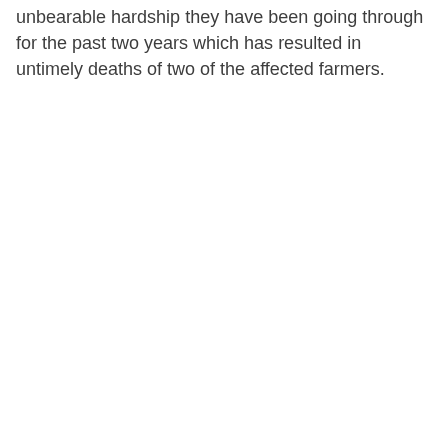unbearable hardship they have been going through for the past two years which has resulted in untimely deaths of two of the affected farmers.